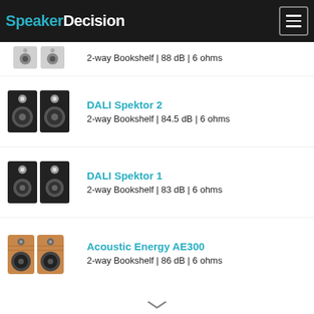SpeakerDecision
2-way Bookshelf | 88 dB | 6 ohms
DALI Spektor 2
2-way Bookshelf | 84.5 dB | 6 ohms
DALI Spektor 1
2-way Bookshelf | 83 dB | 6 ohms
Acoustic Energy AE300
2-way Bookshelf | 86 dB | 6 ohms